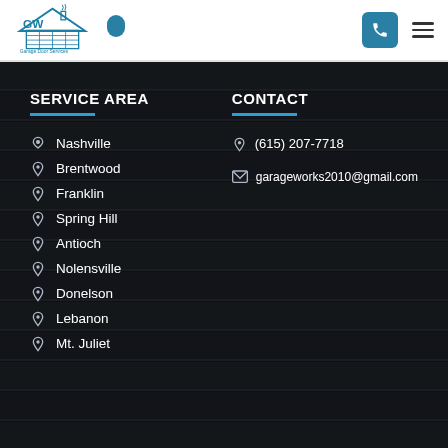[Figure (logo): GW Garage Door Services logo with house icon]
SERVICE AREA
CONTACT
Nashville
Brentwood
Franklin
Spring Hill
Antioch
Nolensville
Donelson
Lebanon
Mt. Juliet
(615) 207-7718
garageworks2010@gmail.com